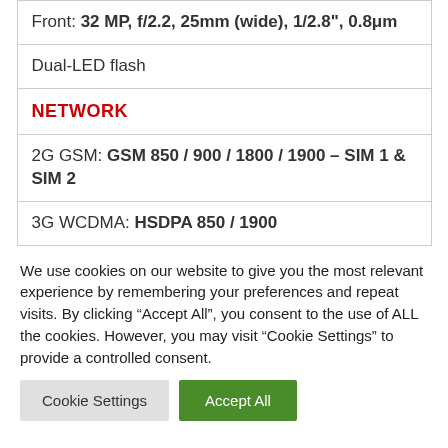| Front: 32 MP, f/2.2, 25mm (wide), 1/2.8", 0.8μm |
| Dual-LED flash |
| NETWORK |
| 2G GSM: GSM 850 / 900 / 1800 / 1900 – SIM 1 & SIM 2 |
| 3G WCDMA: HSDPA 850 / 1900 |
We use cookies on our website to give you the most relevant experience by remembering your preferences and repeat visits. By clicking "Accept All", you consent to the use of ALL the cookies. However, you may visit "Cookie Settings" to provide a controlled consent.